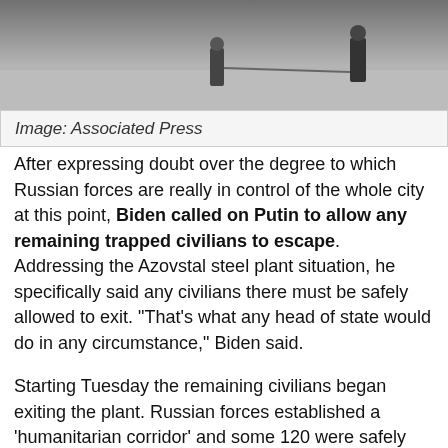[Figure (photo): Black and white photo of military figures on a paved surface, partially cropped at the top of the page]
Image: Associated Press
After expressing doubt over the degree to which Russian forces are really in control of the whole city at this point, Biden called on Putin to allow any remaining trapped civilians to escape. Addressing the Azovstal steel plant situation, he specifically said any civilians there must be safely allowed to exit. "That's what any head of state would do in any circumstance," Biden said.
Starting Tuesday the remaining civilians began exiting the plant. Russian forces established a 'humanitarian corridor' and some 120 were safely evacuated. RT aired footage of the Ukrainian civilians being escorted out of the area later that day. But there could still be hundreds still inside and below the cavernous sprawling complex, along with an estimated couple thousand Ukrainian Azov fighters.
Putin's                                        ssian
forces -                                      vords
given t…                                     litary